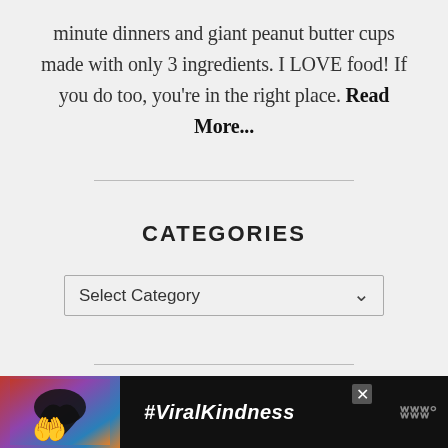minute dinners and giant peanut butter cups made with only 3 ingredients. I LOVE food! If you do too, you're in the right place. Read More...
CATEGORIES
Select Category
[Figure (infographic): Advertisement banner with dark background showing silhouette of hands forming a heart shape against a sunset sky, with text #ViralKindness, a close button, and a logo]